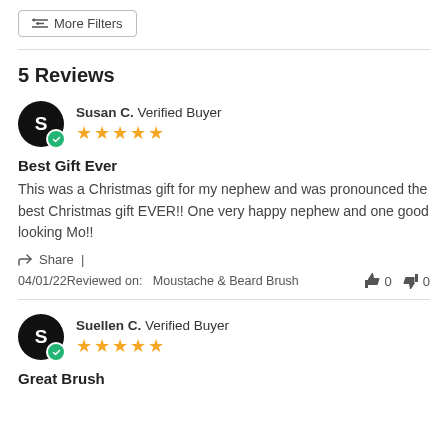More Filters
5 Reviews
Susan C. Verified Buyer ★★★★★
Best Gift Ever
This was a Christmas gift for my nephew and was pronounced the best Christmas gift EVER!! One very happy nephew and one good looking Mo!!
Share |
04/01/22Reviewed on:   Moustache & Beard Brush    👍 0   👎 0
Suellen C. Verified Buyer ★★★★★
Great Brush